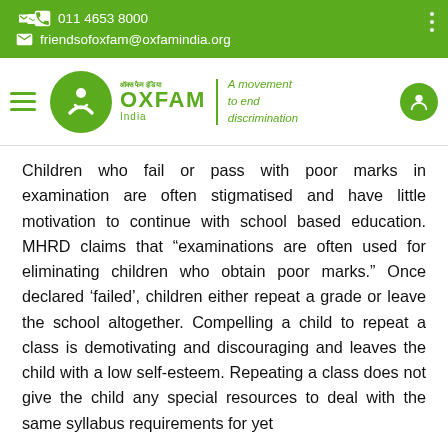011 4653 8000
friendsofoxfam@oxfamindia.org
[Figure (logo): Oxfam India logo with tagline 'A movement to end discrimination']
Children who fail or pass with poor marks in examination are often stigmatised and have little motivation to continue with school based education. MHRD claims that “examinations are often used for eliminating children who obtain poor marks.” Once declared ‘failed’, children either repeat a grade or leave the school altogether. Compelling a child to repeat a class is demotivating and discouraging and leaves the child with a low self-esteem. Repeating a class does not give the child any special resources to deal with the same syllabus requirements for yet